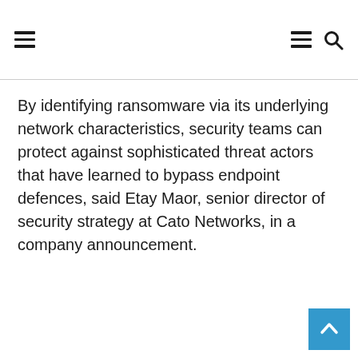[navigation icons: hamburger menu left, hamburger menu right, search icon]
By identifying ransomware via its underlying network characteristics, security teams can protect against sophisticated threat actors that have learned to bypass endpoint defences, said Etay Maor, senior director of security strategy at Cato Networks, in a company announcement.